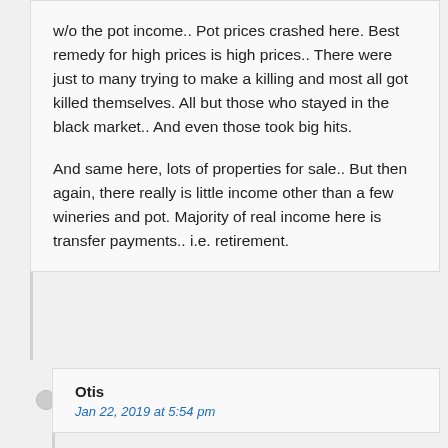w/o the pot income.. Pot prices crashed here. Best remedy for high prices is high prices.. There were just to many trying to make a killing and most all got killed themselves. All but those who stayed in the black market.. And even those took big hits.

And same here, lots of properties for sale.. But then again, there really is little income other than a few wineries and pot. Majority of real income here is transfer payments.. i.e. retirement.
Otis
Jan 22, 2019 at 5:54 pm